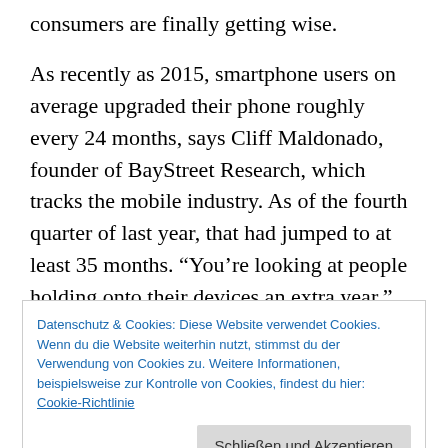consumers are finally getting wise.
As recently as 2015, smartphone users on average upgraded their phone roughly every 24 months, says Cliff Maldonado, founder of BayStreet Research, which tracks the mobile industry. As of the fourth quarter of last year, that had jumped to at least 35 months. “You’re looking at people holding onto their devices an extra year,” Maldonado says. “It’s been considerable.”
A few factors contribute to the trend, chief among them the shift from buying phones on a two-year contract, heavily
Datenschutz & Cookies: Diese Website verwendet Cookies. Wenn du die Website weiterhin nutzt, stimmst du der Verwendung von Cookies zu. Weitere Informationen, beispielsweise zur Kontrolle von Cookies, findest du hier: Cookie-Richtlinie
Schließen und Akzeptieren
recently. People still generally pay for their smartphone